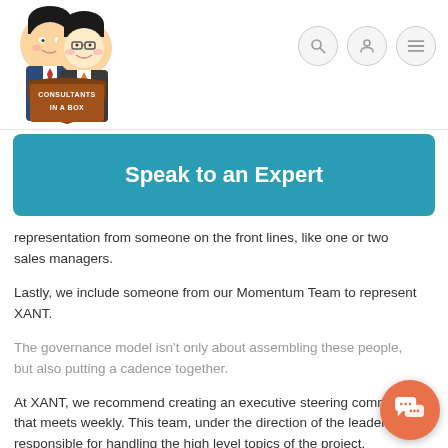[Figure (logo): Consultants In A Box logo: two cartoon characters (consultants) above a brown shield badge with the text CONSULTANTS IN A BOX]
Navigation icons: search, user profile, menu
Speak to an Expert
representation from someone on the front lines, like one or two sales managers.
Lastly, we include someone from our Momentum Team to represent XANT.
The governance model isn't only about assembling these people, but also putting a cadence together.
At XANT, we recommend creating an executive steering committee that meets weekly. This team, under the direction of the leader, is responsible for handling the high level topics of the project.
Below them is an operations committee that meets multiple